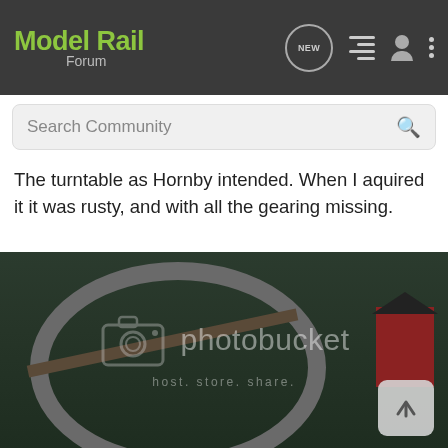Model Rail Forum
The turntable as Hornby intended. When I aquired it it was rusty, and with all the gearing missing.
[Figure (photo): A model railway turntable on a green cutting mat, with a small building model visible to the right. The image has a Photobucket watermark overlay with camera icon and text 'photobucket host. store. share.']